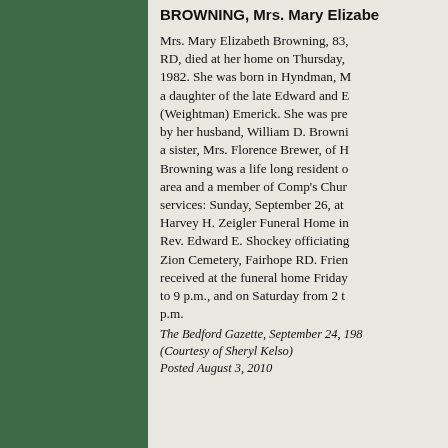BROWNING, Mrs. Mary Elizabeth
Mrs. Mary Elizabeth Browning, 83, RD, died at her home on Thursday, 1982. She was born in Hyndman, M a daughter of the late Edward and E (Weightman) Emerick. She was prec by her husband, William D. Browni a sister, Mrs. Florence Brewer, of H Browning was a life long resident o area and a member of Comp's Chur services: Sunday, September 26, at Harvey H. Zeigler Funeral Home in Rev. Edward E. Shockey officiating Zion Cemetery, Fairhope RD. Frien received at the funeral home Friday to 9 p.m., and on Saturday from 2 to p.m.
The Bedford Gazette, September 24, 198 (Courtesy of Sheryl Kelso) Posted August 3, 2010